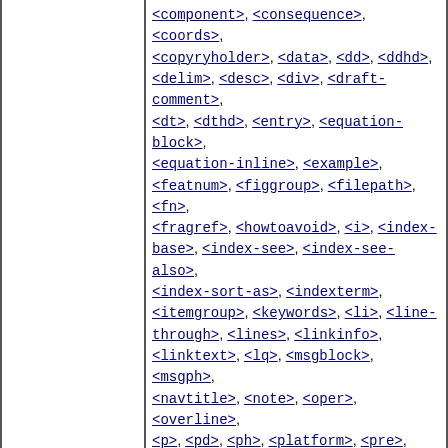| Type | Elements |
| --- | --- |
| (continued) | <component>, <consequence>, <coords>, <copyryholder>, <data>, <dd>, <ddhd>, <delim>, <desc>, <div>, <draft-comment>, <dt>, <dthd>, <entry>, <equation-block>, <equation-inline>, <example>, <featnum>, <figgroup>, <filepath>, <fn>, <fragref>, <howtoavoid>, <i>, <index-base>, <index-see>, <index-see-also>, <index-sort-as>, <indexterm>, <itemgroup>, <keywords>, <li>, <line-through>, <lines>, <linkinfo>, <linktext>, <lq>, <msgblock>, <msgph>, <navtitle>, <note>, <oper>, <overline>, <p>, <pd>, <ph>, <platform>, <pre>, <prodname>, <prognum>, <pt>, <publisher>, <q>, <repsep>, <screen>, <searchtitle>, <section>, <sectiondiv>, <sep>, <series>, <shortdesc>, <sli>, <sort-as>, <source>, <stentry>, <sub>, <sup>, <synnote>, <systemoutput>, <title>, <tt>, <typeofhazard>, <u>, <uicontrol>, <userinput>, <var>, <xref> |
| Bookmap | Everything in Map (technical content), plus: <addressdetails>, <administrativearea>, <booklibrary>, <booknumber>, <bookpartno>, <booktitlealt>, <contactnumber>, <country>, <day>, <edition>, |